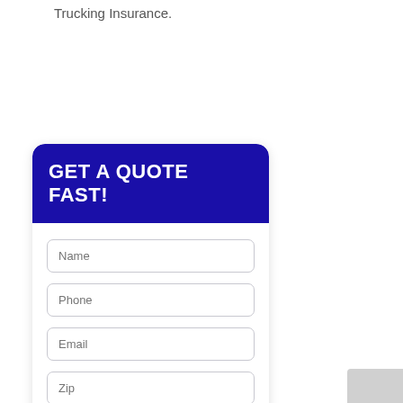Trucking Insurance.
[Figure (screenshot): A web form card with dark blue header titled 'GET A QUOTE FAST!' containing input fields for Name, Phone, Email, Zip, a Type of Insurance dropdown, and a SUBMIT button.]